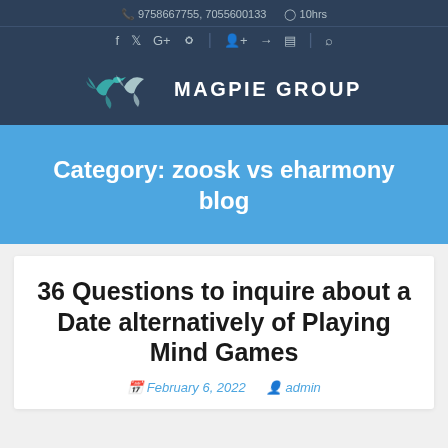9758667755, 7055600133   10hrs
[Figure (logo): Magpie Group logo with stylized bird and text MAGPIE GROUP]
Category: zoosk vs eharmony blog
36 Questions to inquire about a Date alternatively of Playing Mind Games
February 6, 2022   admin